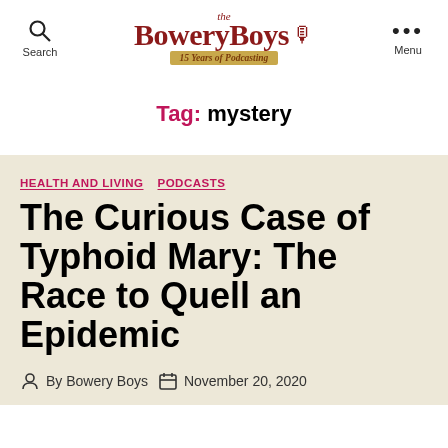the Bowery Boys — 15 Years of Podcasting
Tag: mystery
HEALTH AND LIVING   PODCASTS
The Curious Case of Typhoid Mary: The Race to Quell an Epidemic
By Bowery Boys   November 20, 2020